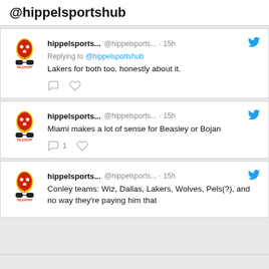@hippelsportshub
hippelsports... @hippelsports... · 15h
Replying to @hippelsportshub
Lakers for both too. honestly about it.
hippelsports... @hippelsports... · 15h
Miami makes a lot of sense for Beasley or Bojan
hippelsports... @hippelsports... · 15h
Conley teams: Wiz, Dallas, Lakers, Wolves, Pels(?), and no way they're paying him that